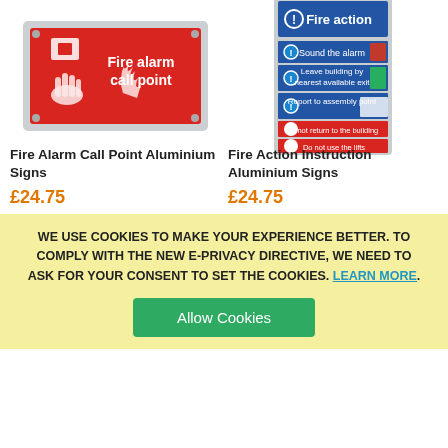[Figure (photo): Fire alarm call point aluminium sign – red rectangular sign with white hand icon pressing alarm and white text 'Fire alarm call point']
[Figure (photo): Fire action instruction aluminium sign – silver/grey background with blue header 'Fire action' and blue exclamation icons, listing fire safety instructions in color-coded rows]
Fire Alarm Call Point Aluminium Signs
£24.75
Fire Action Instruction Aluminium Signs
£24.75
WE USE COOKIES TO MAKE YOUR EXPERIENCE BETTER. TO COMPLY WITH THE NEW E-PRIVACY DIRECTIVE, WE NEED TO ASK FOR YOUR CONSENT TO SET THE COOKIES. LEARN MORE.
Allow Cookies